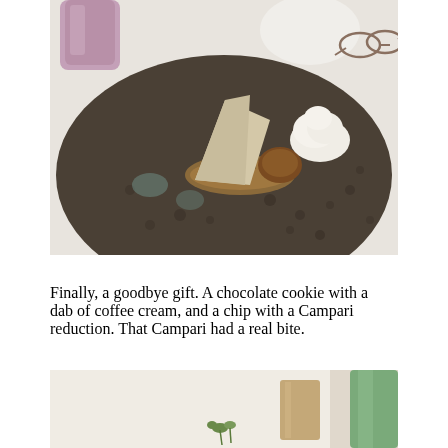[Figure (photo): A restaurant dessert plate on a dark round tray: a large pale cream/beige tuile or parfait shard, whipped cream, crumbled biscuit, and caramelized elements. In the background, a purple/mauve glass and eyeglasses on a white tablecloth.]
Finally, a goodbye gift. A chocolate cookie with a dab of coffee cream, and a chip with a Campari reduction. That Campari had a real bite.
[Figure (photo): Partial view of another restaurant dish, showing what appears to be a green drink or glass on the right, and small herbs or garnishes on a light surface.]